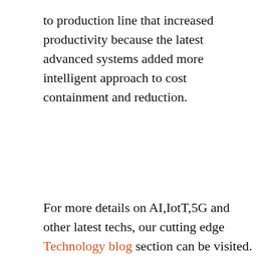to production line that increased productivity because the latest advanced systems added more intelligent approach to cost containment and reduction.
For more details on AI,IotT,5G and other latest techs, our cutting edge Technology blog section can be visited.
[Figure (illustration): Two social media icons: a blue Facebook circle icon and a red YouTube circle icon.]